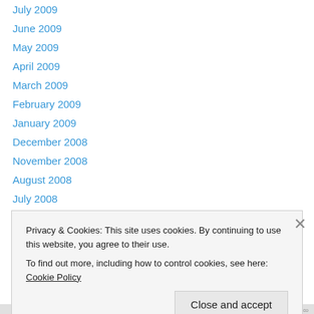July 2009
June 2009
May 2009
April 2009
March 2009
February 2009
January 2009
December 2008
November 2008
August 2008
July 2008
June 2008
May 2008
Privacy & Cookies: This site uses cookies. By continuing to use this website, you agree to their use. To find out more, including how to control cookies, see here: Cookie Policy
Close and accept